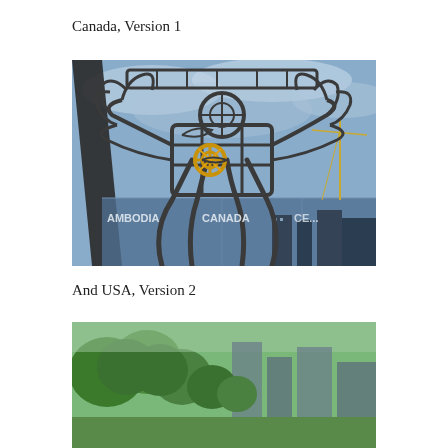Canada, Version 1
[Figure (photo): A large metal sculpture made of interlocking steel tubes forming a humanoid figure, photographed from below against a cloudy sky. In the background, glass panels reflect text reading 'AMBODIA', 'CANADA', 'CE...' and city skyscrapers are visible. A construction crane is seen on the right side.]
And USA, Version 2
[Figure (photo): Partial view of a photo showing green trees and city buildings, cropped at the bottom of the page.]